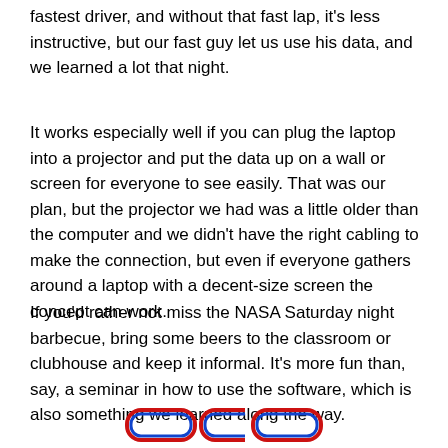fastest driver, and without that fast lap, it's less instructive, but our fast guy let us use his data, and we learned a lot that night.
It works especially well if you can plug the laptop into a projector and put the data up on a wall or screen for everyone to see easily. That was our plan, but the projector we had was a little older than the computer and we didn't have the right cabling to make the connection, but even if everyone gathers around a laptop with a decent-size screen the concept can work.
If you'd rather not miss the NASA Saturday night barbecue, bring some beers to the classroom or clubhouse and keep it informal. It's more fun than, say, a seminar in how to use the software, which is also something we learned along the way.
[Figure (other): Three partially visible rounded rectangle button/badge shapes at the bottom of the page, colored with red and blue outlines.]